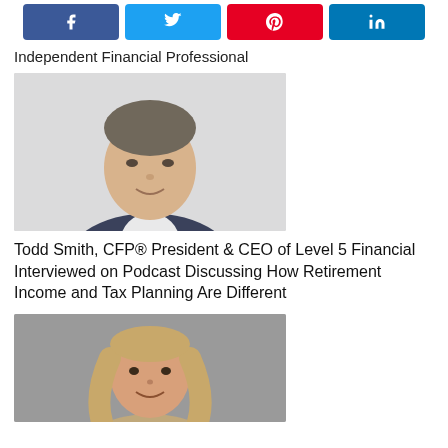[Figure (other): Social share buttons row: Facebook (blue), Twitter (blue), Pinterest (red), LinkedIn (grey-blue)]
Independent Financial Professional
[Figure (photo): Headshot of Todd Smith, a middle-aged man in a dark suit, smiling, against a light background]
Todd Smith, CFP® President & CEO of Level 5 Financial Interviewed on Podcast Discussing How Retirement Income and Tax Planning Are Different
[Figure (photo): Headshot of a woman with long blonde hair, smiling, against a grey background]